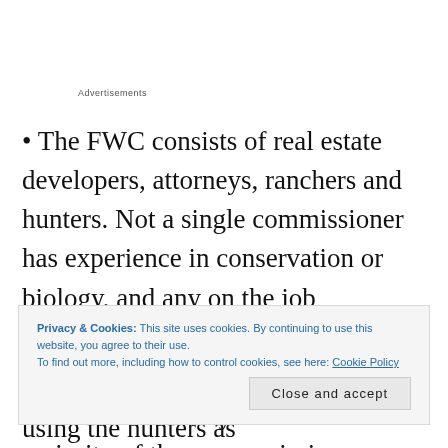Advertisements
• The FWC consists of real estate developers, attorneys, ranchers and hunters. Not a single commissioner has experience in conservation or biology, and any on the job education obtained as commissioner has been offset by their conflicts of interest. The reality is that the majority of these commissioners would benefit financially if they were to...
Privacy & Cookies: This site uses cookies. By continuing to use this website, you agree to their use.
To find out more, including how to control cookies, see here: Cookie Policy
Close and accept
residents of Florida, and they are using the hunters as